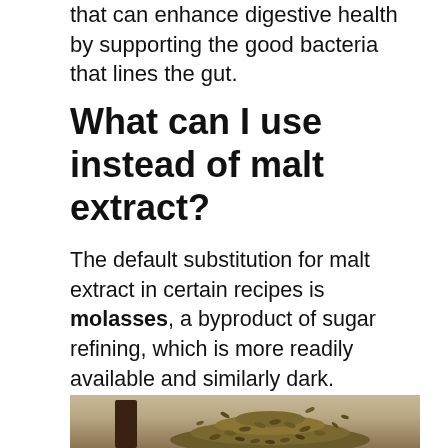that can enhance digestive health by supporting the good bacteria that lines the gut.
What can I use instead of malt extract?
The default substitution for malt extract in certain recipes is molasses, a byproduct of sugar refining, which is more readily available and similarly dark. Molasses is sweeter, so you’ll only need about 2/3 cup to replace a full cup of malt extract.
[Figure (photo): Photo of green/brown malt grains piled up, with a dark container visible on the left side]